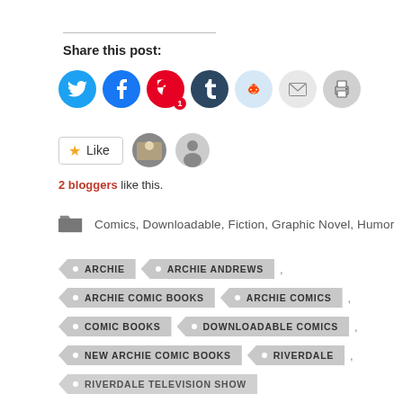Share this post:
[Figure (infographic): Social sharing icons: Twitter (blue), Facebook (blue), Pinterest (red, badge 1), Tumblr (dark blue), Reddit (light blue), Email (gray), Print (gray)]
[Figure (infographic): Like button with star, two blogger avatars. Text: 2 bloggers like this.]
2 bloggers like this.
Comics, Downloadable, Fiction, Graphic Novel, Humor
ARCHIE
ARCHIE ANDREWS
ARCHIE COMIC BOOKS
ARCHIE COMICS
COMIC BOOKS
DOWNLOADABLE COMICS
NEW ARCHIE COMIC BOOKS
RIVERDALE
RIVERDALE TELEVISION SHOW